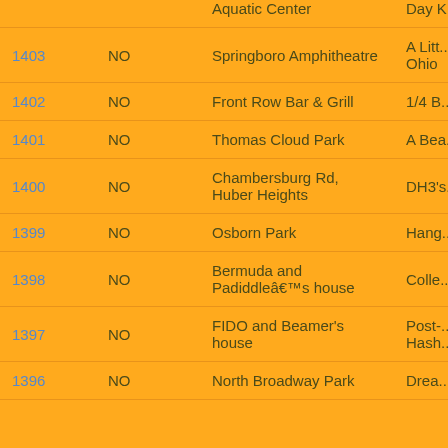| # | NO | Location | Title |
| --- | --- | --- | --- |
|  |  | Aquatic Center | Day K... |
| 1403 | NO | Springboro Amphitheatre | A Littl... of Sp... Ohio |
| 1402 | NO | Front Row Bar & Grill | 1/4 B... Revis... |
| 1401 | NO | Thomas Cloud Park | A Bea... the N... |
| 1400 | NO | Chambersburg Rd, Huber Heights | DH3's... Trail |
| 1399 | NO | Osborn Park | Hang... |
| 1398 | NO | Bermuda and Padiddleâ€™s house | Colle... Mania... |
| 1397 | NO | FIDO and Beamer's house | Post-... Chris... Hash... |
| 1396 | NO | North Broadway Park | Drea... Shigg... |